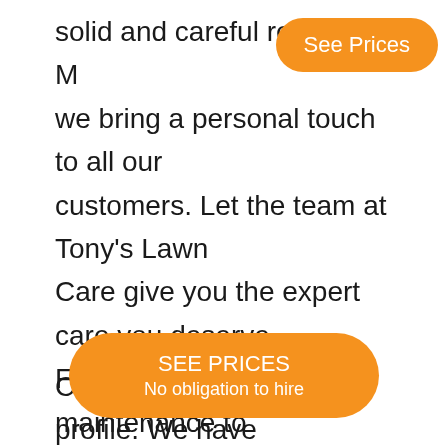solid and careful results. M we bring a personal touch to all our customers. Let the team at Tony's Lawn Care give you the expert care you deserve. From residential lawn maintenance to commercial yard maintenance, we offer a long range of lawn care services. You can get basic lawn mowing services, lawn maintenance, and yard maintenance all at once.
Check out our business profile. We have provid services to properties no places like the
[Figure (other): Orange rounded button with white text reading 'See Prices' positioned top-right]
[Figure (other): Orange rounded button with white text reading 'SEE PRICES' and subtext 'No obligation to hire' positioned bottom-center]